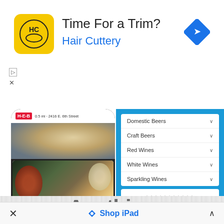[Figure (screenshot): Hair Cuttery advertisement banner with yellow logo, 'Time For a Trim?' headline, 'Hair Cuttery' brand name in blue, and a blue diamond navigation arrow icon]
[Figure (screenshot): Screenshot of HEB grocery app showing store listings including H-E-B (0.5 mi, 2416 E. 6th Street) and Central Market (0.5 mi, 4001 N Lamar Blvd) with food photography]
[Figure (screenshot): Screenshot of beverage selection menu showing categories: Domestic Beers, Craft Beers, Red Wines, White Wines, Sparkling Wines with chevrons and a 'YOUR ITEMS (0)' cart button]
[Figure (screenshot): Promotional banner on light gray wood-texture background with bold gray text 'Anything delivered']
× Shop iPad ∧